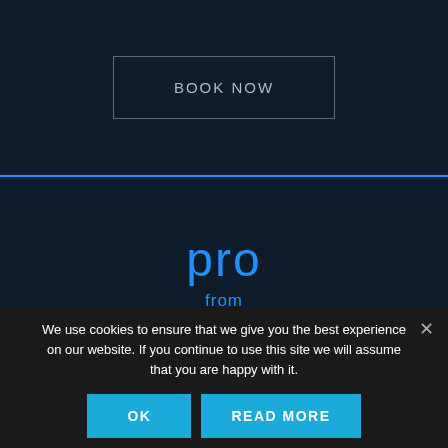BOOK NOW
pro
from
We use cookies to ensure that we give you the best experience on our website. If you continue to use this site we will assume that you are happy with it.
OK
READ MORE